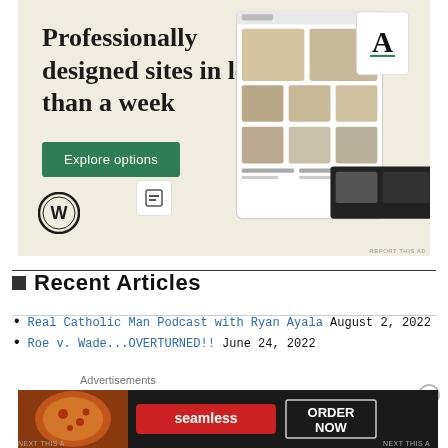[Figure (screenshot): WordPress advertisement banner with beige background. Text reads 'Professionally designed sites in less than a week' with an 'Explore options' green button, WordPress logo, and mockup website images on the right.]
Recent Articles
Real Catholic Man Podcast with Ryan Ayala August 2, 2022
Roe v. Wade...OVERTURNED!! June 24, 2022
Advertisements
[Figure (screenshot): Seamless food delivery advertisement banner with dark background, pizza image on left, red 'seamless' logo in center, and 'ORDER NOW' button on right.]